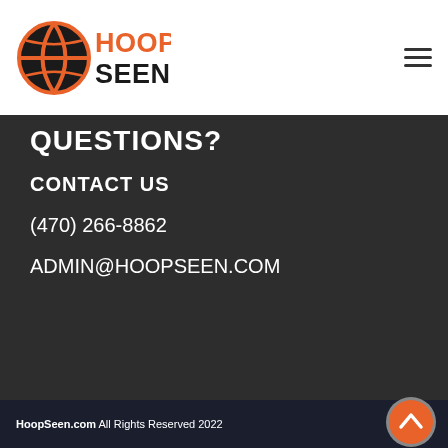[Figure (logo): HoopSeen logo with basketball icon and orange/black text]
QUESTIONS?
CONTACT US
(470) 266-8862
ADMIN@HOOPSEEN.COM
HoopSeen.com All Rights Reserved 2022